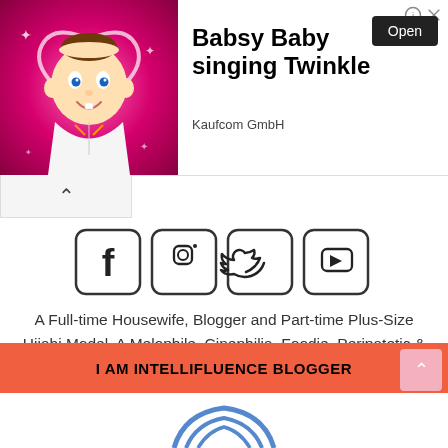[Figure (screenshot): Advertisement banner for 'Babsy Baby singing Twinkle' by Kaufcom GmbH, with a cartoon baby image on the left, text and Open button on the right]
[Figure (illustration): Four social media icons in rounded square borders: Facebook, Instagram, Twitter, YouTube]
A Full-time Housewife, Blogger and Part-time Plus-Size Hijabi Model. A Melophile, Cinephilia, Foodie, Peripatetic & Philocalist.
For collaboration, review or advertorial Kindly contact me via email zazasters8@gmail.com or thru my Whatsapp link -> https://Zazaazman8.wasap.my
4 Online Users
I AM INTELLIFLUENCE BLOGGER